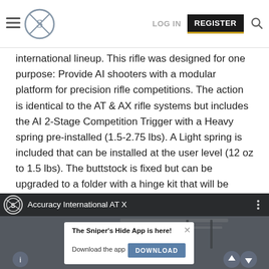Sniper's Hide - LOG IN - REGISTER
international lineup. This rifle was designed for one purpose: Provide AI shooters with a modular platform for precision rifle competitions. The action is identical to the AT & AX rifle systems but includes the AI 2-Stage Competition Trigger with a Heavy spring pre-installed (1.5-2.75 lbs). A Light spring is included that can be installed at the user level (12 oz to 1.5 lbs). The buttstock is fixed but can be upgraded to a folder with a hinge kit that will be available later this year. In addition, other accessories such as a short night vision bridge, full-bridge, and weights are in development.
[Figure (screenshot): Video thumbnail showing Accuracy International AT X rifles on a wall rack in a gunstore/showroom setting, with a channel icon (Sniper's Hide logo) and title 'Accuracy International AT X'. An app download popup overlay reads: 'The Sniper's Hide App is here! Download the app [DOWNLOAD button]'. Bottom left has an info circle icon; bottom right has up and down arrow navigation buttons.]